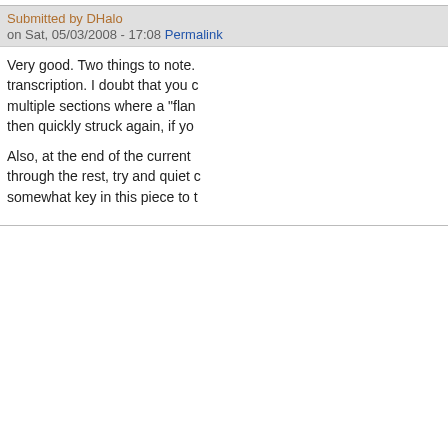Submitted by DHalo
on Sat, 05/03/2008 - 17:08 Permalink
Very good. Two things to note. transcription. I doubt that you c multiple sections where a "flan then quickly struck again, if yo
Also, at the end of the current through the rest, try and quiet somewhat key in this piece to t
Re: Tribute for Orches
Submitted by Andybeano
on Sat, 05/03/2008 - 19:51 Perm
Hey, thanks for the comme When I listened to 'Tribute almost adds an echoey so lower it on the other instru expression with Sibelius, i work very well.